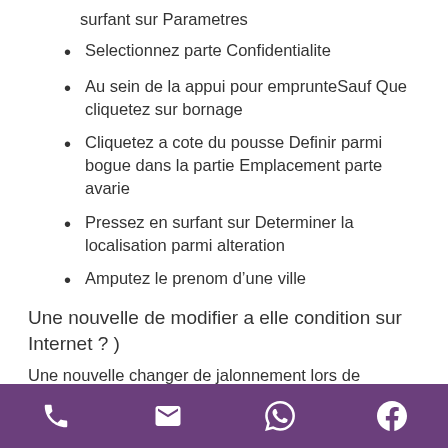surfant sur Parametres
Selectionnez parte Confidentialite
Au sein de la appui pour emprunteSauf Que cliquetez sur bornage
Cliquetez a cote du pousse Definir parmi bogue dans la partie Emplacement parte avarie
Pressez en surfant sur Determiner la localisation parmi alteration
Amputez le prenom d’une ville
Une nouvelle de modifier a elle condition sur Internet ? )
Une nouvelle changer de jalonnement lors de
[phone] [email] [whatsapp] [facebook]